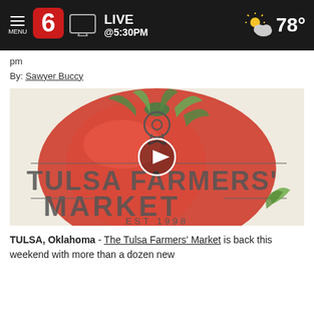LIVE @5:30PM  78°
pm
By: Sawyer Buccy
[Figure (photo): Tulsa Farmers' Market logo featuring a large red tomato illustration with 'TULSA FARMERS' MARKET EST 1998' text, with a video play button overlay in the center]
TULSA, Oklahoma - The Tulsa Farmers' Market is back this weekend with more than a dozen new